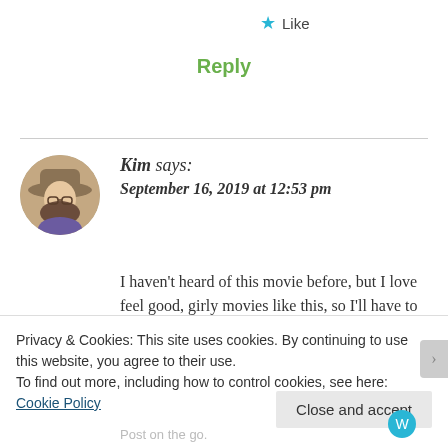★ Like
Reply
Kim says:
September 16, 2019 at 12:53 pm
I haven't heard of this movie before, but I love feel good, girly movies like this, so I'll have to
Privacy & Cookies: This site uses cookies. By continuing to use this website, you agree to their use.
To find out more, including how to control cookies, see here: Cookie Policy
Close and accept
Post on the go.